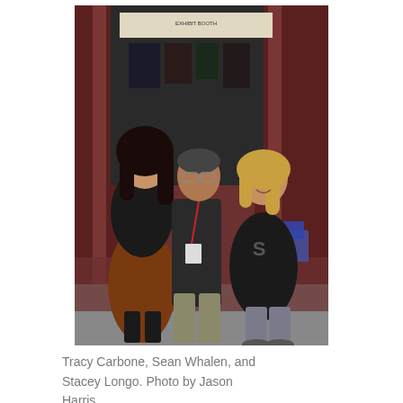[Figure (photo): Three people standing together at a convention booth with red curtains in the background. A woman in black top and rust-colored skirt on the left, a man in dark clothes with a lanyard badge in the center, and a woman in a black graphic sweatshirt on the right.]
Tracy Carbone, Sean Whalen, and Stacey Longo. Photo by Jason Harris.
On Friday, it was great talking with Sean Whalen who was in The People Under the Stairs and Twister, and many